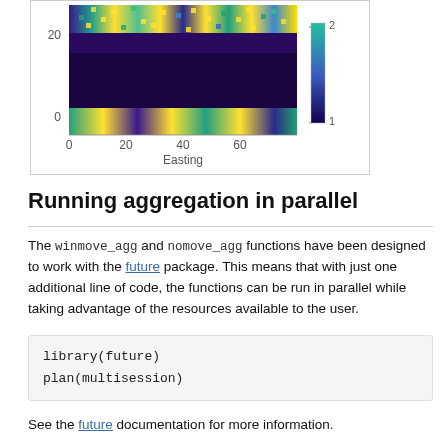[Figure (other): Partial heatmap/raster plot showing a colorful pixelated grid with a color scale (1 to 2) on the right, x-axis labeled 'Easting' with ticks at 0, 20, 40, 60, and y-axis ticks at 0 and 20. Colors range from purple (low) to yellow (high).]
Running aggregation in parallel
The winmove_agg and nomove_agg functions have been designed to work with the future package. This means that with just one additional line of code, the functions can be run in parallel while taking advantage of the resources available to the user.
library(future)
plan(multisession)
See the future documentation for more information.